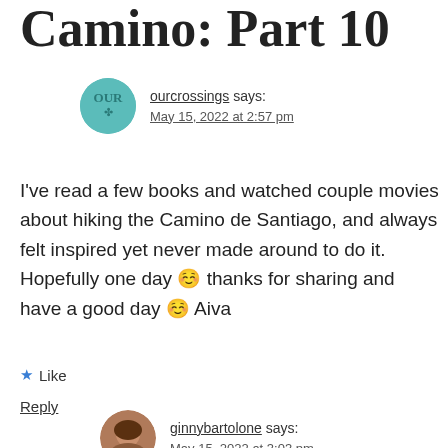Camino: Part 10
ourcrossings says:
May 15, 2022 at 2:57 pm
I've read a few books and watched couple movies about hiking the Camino de Santiago, and always felt inspired yet never made around to do it. Hopefully one day 😊 thanks for sharing and have a good day 😊 Aiva
Like
Reply
ginnybartolone says:
May 15, 2022 at 3:03 pm